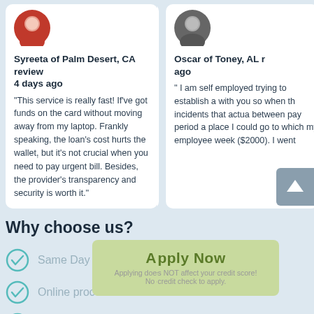[Figure (photo): Avatar photo of Syreeta, cropped circle, red/pink tones]
Syreeta of Palm Desert, CA review 4 days ago
"This service is really fast! If've got funds on the card without moving away from my laptop. Frankly speaking, the loan's cost hurts the wallet, but it's not crucial when you need to pay urgent bill. Besides, the provider's transparency and security is worth it."
[Figure (photo): Avatar photo of Oscar, dark tones, partially visible on right side]
Oscar of Toney, AL r... ago
" I am self employed trying to establish a with you so when th incidents that actua between pay period a place I could go to which my employee week ($2000). I went
Why choose us?
[Figure (other): Green Apply Now button overlay with subtext 'Applying does NOT affect your credit score! No credit check to apply.']
Same Day Process
Online process
Accept & get funds